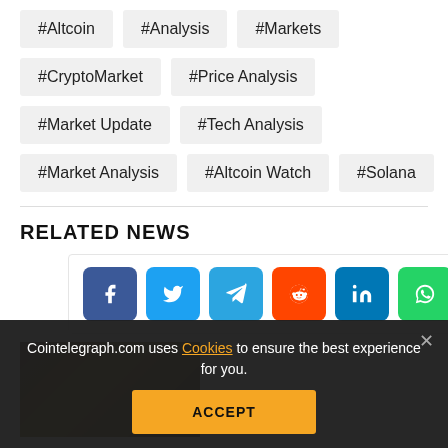#Altcoin
#Analysis
#Markets
#CryptoMarket
#Price Analysis
#Market Update
#Tech Analysis
#Market Analysis
#Altcoin Watch
#Solana
RELATED NEWS
[Figure (screenshot): Social sharing buttons: Facebook, Twitter, Telegram, Reddit, LinkedIn, WhatsApp, Copy, Scroll-to-top]
[Figure (photo): Thumbnail image of related news article (dark/golden tones)]
Cointelegraph.com uses Cookies to ensure the best experience for you.
ACCEPT